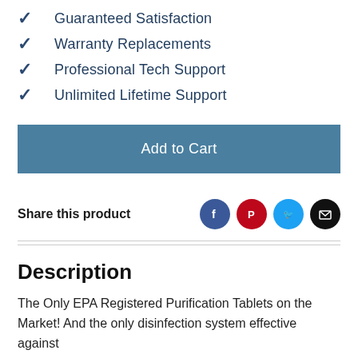Guaranteed Satisfaction
Warranty Replacements
Professional Tech Support
Unlimited Lifetime Support
Add to Cart
Share this product
Description
The Only EPA Registered Purification Tablets on the Market! And the only disinfection system effective against